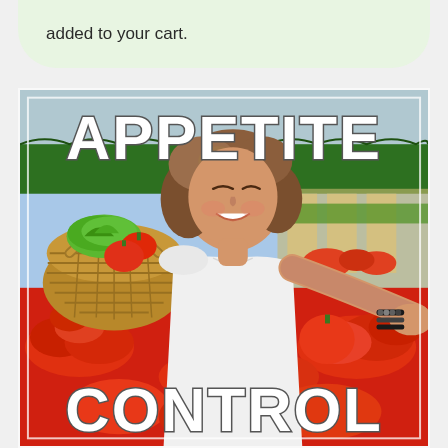added to your cart.
[Figure (illustration): Book cover showing a smiling young woman at an outdoor farmers market, reaching toward tomatoes. She holds a wicker basket filled with fresh vegetables including lettuce and peppers. The cover has large stylized text reading 'APPETITE' at the top and 'CONTROL' at the bottom in white outlined letters with dark stroke.]